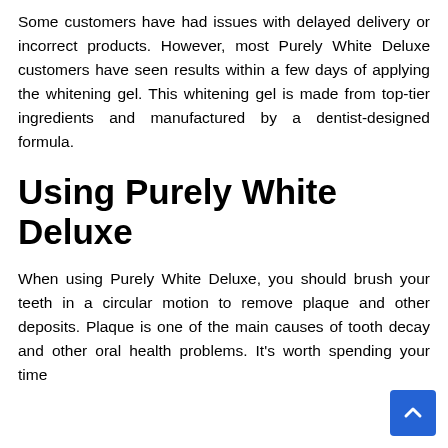Some customers have had issues with delayed delivery or incorrect products. However, most Purely White Deluxe customers have seen results within a few days of applying the whitening gel. This whitening gel is made from top-tier ingredients and manufactured by a dentist-designed formula.
Using Purely White Deluxe
When using Purely White Deluxe, you should brush your teeth in a circular motion to remove plaque and other deposits. Plaque is one of the main causes of tooth decay and other oral health problems. It's worth spending your time